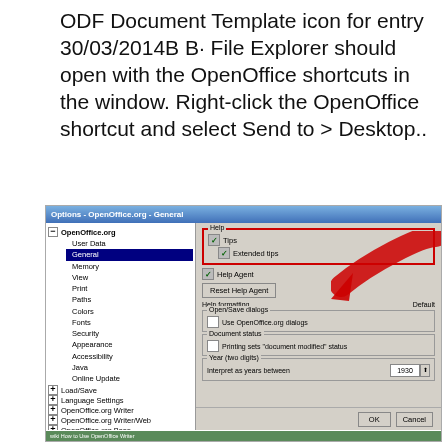ODF Document Template icon for entry 30/03/2014B B· File Explorer should open with the OpenOffice shortcuts in the window. Right-click the OpenOffice shortcut and select Send to > Desktop..
[Figure (screenshot): OpenOffice.org Options - General dialog window showing tree navigation on the left with General selected, and on the right a Help section with Tips and Extended tips checkboxes highlighted in a red border, a red arrow pointing to them, Reset Help Agent button, Help formatting, Open/Save dialogs, Document status, and Year (two digits) sections. OK and Cancel buttons at bottom.]